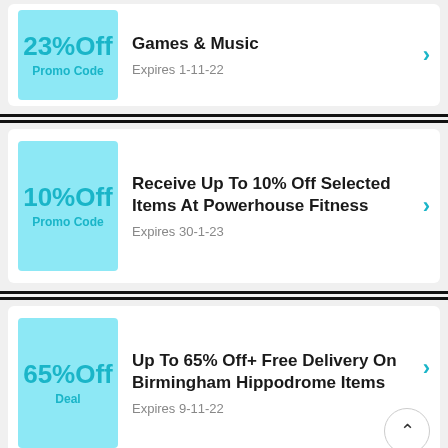[Figure (infographic): Coupon card: 23% Off Promo Code for Games & Music, Expires 1-11-22]
[Figure (infographic): Coupon card: 10% Off Promo Code - Receive Up To 10% Off Selected Items At Powerhouse Fitness, Expires 30-1-23]
[Figure (infographic): Coupon card: 65% Off Deal - Up To 65% Off+ Free Delivery On Birmingham Hippodrome Items, Expires 9-11-22]